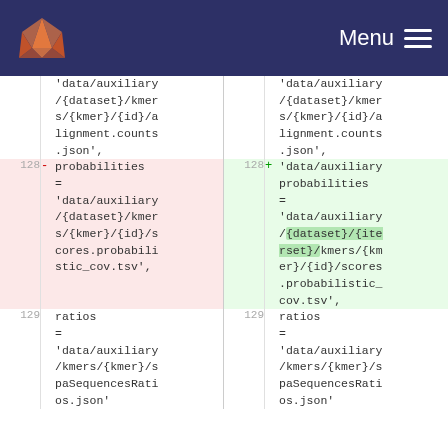GitLab Menu
| line_left | op_left | code_left | line_right | op_right | code_right |
| --- | --- | --- | --- | --- | --- |
|  |  | 'data/auxiliary/{dataset}/kmers/{kmer}/{id}/alignment.counts.json', |  |  | 'data/auxiliary/{dataset}/kmers/{kmer}/{id}/alignment.counts.json', |
| 128 | - | probabilities = 'data/auxiliary/{dataset}/kmers/{kmer}/{id}/scores.probabilistic_cov.tsv', | 128 | + | probabilities = 'data/auxiliary/{dataset}/{iterset}/kmers/{kmer}/{id}/scores.probabilistic_cov.tsv', |
| 129 |  | ratios = 'data/auxiliary/kmers/{kmer}/spaSequencesRatios.json' | 129 |  | ratios = 'data/auxiliary/kmers/{kmer}/spaSequencesRatios.json' |